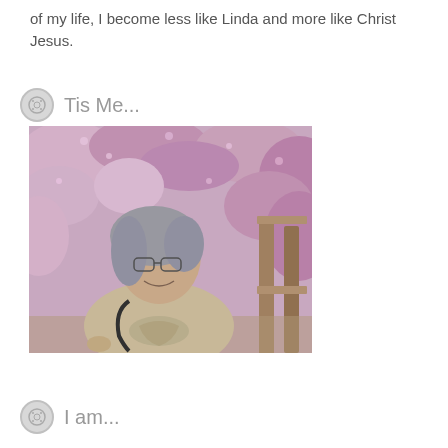of my life, I become less like Linda and more like Christ Jesus.
Tis Me...
[Figure (photo): A woman with gray hair and glasses, smiling, wearing a beige t-shirt with a bag strap. She stands in front of a background of pink/purple flowering bushes near a wooden fence.]
I am...